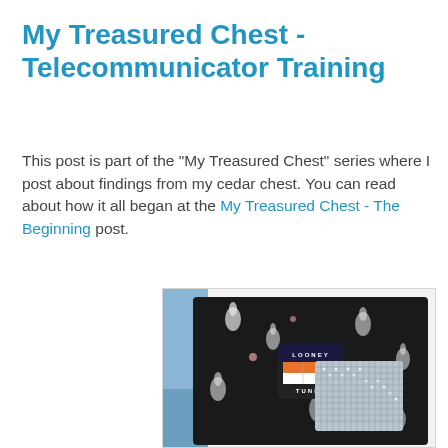My Treasured Chest - Telecommunicator Training
This post is part of the "My Treasured Chest" series where I post about findings from my cedar chest. You can read about how it all began at the My Treasured Chest - The Beginning post.
[Figure (photo): A black Looney Tunes branded fabric wallet or case covered in cartoon character prints (Bugs Bunny, Taz, etc.), with a rhinestone/crystal mesh panel and a Looney Tunes logo tag, laid on a blue cloth background.]